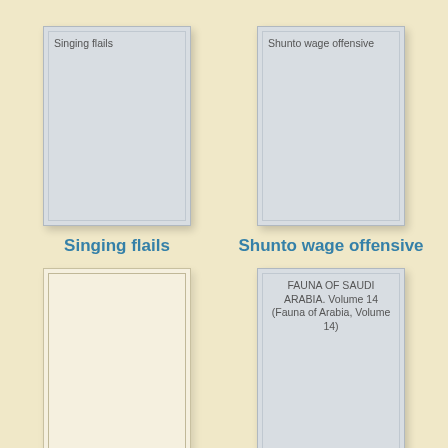[Figure (illustration): Book cover placeholder for 'Singing flails' — gray background with inner border and title text at top]
Singing flails
[Figure (illustration): Book cover placeholder for 'Shunto wage offensive' — gray background with inner border and title text at top]
Shunto wage offensive
[Figure (illustration): Book cover placeholder — cream/beige background with inner border, no title text visible]
[Figure (illustration): Book cover placeholder for 'FAUNA OF SAUDI ARABIA. Volume 14 (Fauna of Arabia, Volume 14)' — gray background with inner border and title text at top center]